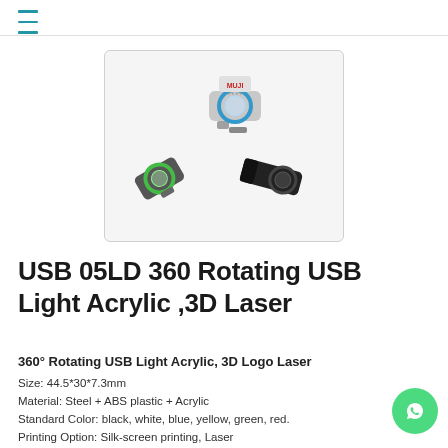≡
[Figure (photo): Three USB flash drives with rotating acrylic light design. One silver drive with MUJI branding, one green drive, and one black drive, all showing the 360-degree rotating acrylic ring logo design.]
USB 05LD 360 Rotating USB Light Acrylic ,3D Laser
360° Rotating USB Light Acrylic, 3D Logo Laser
Size: 44.5*30*7.3mm
Material: Steel + ABS plastic + Acrylic
Standard Color: black, white, blue, yellow, green, red.
Printing Option: Silk-screen printing, Laser